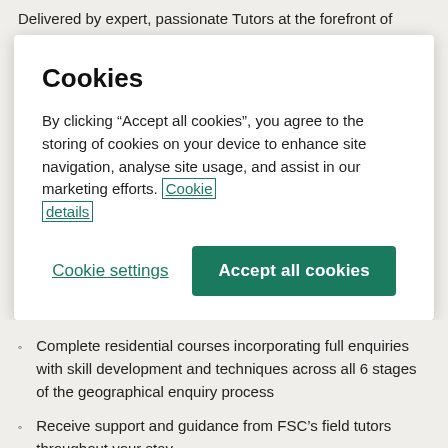Delivered by expert, passionate Tutors at the forefront of
Cookies
By clicking “Accept all cookies”, you agree to the storing of cookies on your device to enhance site navigation, analyse site usage, and assist in our marketing efforts. Cookie details
Cookie settings
Accept all cookies
Complete residential courses incorporating full enquiries with skill development and techniques across all 6 stages of the geographical enquiry process
Receive support and guidance from FSC’s field tutors throughout your stay